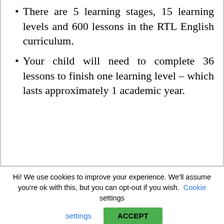There are 5 learning stages, 15 learning levels and 600 lessons in the RTL English curriculum.
Your child will need to complete 36 lessons to finish one learning level – which lasts approximately 1 academic year.
Hi! We use cookies to improve your experience. We'll assume you're ok with this, but you can opt-out if you wish. Cookie settings ACCEPT